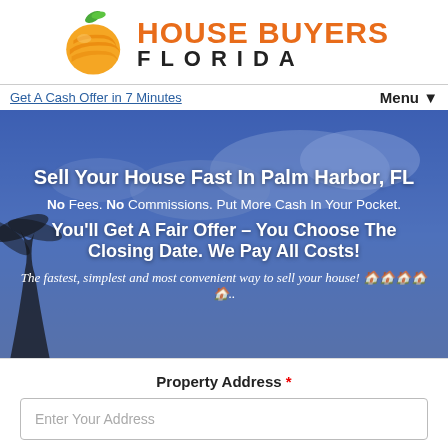[Figure (logo): House Buyers Florida logo with orange circle icon and green leaf, text 'HOUSE BUYERS FLORIDA']
Get A Cash Offer in 7 Minutes   Menu▼
[Figure (photo): Background photo of Florida sky with palm trees and blue cloudy sky, overlaid with marketing text]
Sell Your House Fast In Palm Harbor, FL
No Fees. No Commissions. Put More Cash In Your Pocket.
You'll Get A Fair Offer – You Choose The Closing Date. We Pay All Costs!
The fastest, simplest and most convenient way to sell your house! 🏠🏠🏠🏠🏠..
Property Address *
Enter Your Address